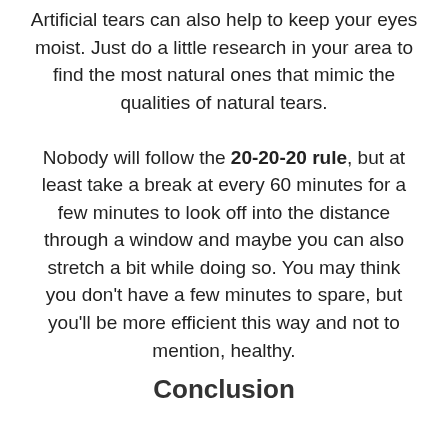Artificial tears can also help to keep your eyes moist. Just do a little research in your area to find the most natural ones that mimic the qualities of natural tears. Nobody will follow the 20-20-20 rule, but at least take a break at every 60 minutes for a few minutes to look off into the distance through a window and maybe you can also stretch a bit while doing so. You may think you don't have a few minutes to spare, but you'll be more efficient this way and not to mention, healthy.
Conclusion